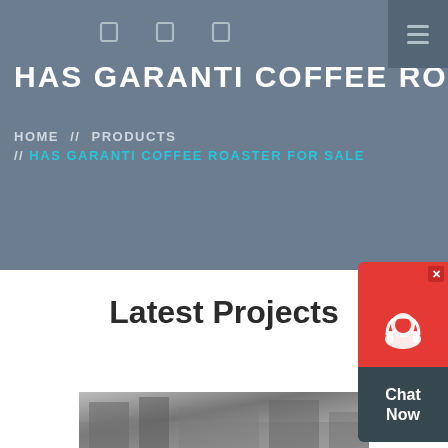HAS GARANTI COFFEE ROASTER
HOME // PRODUCTS // HAS GARANTI COFFEE ROASTER FOR SALE
Latest Projects
[Figure (photo): Industrial coffee roaster equipment photo]